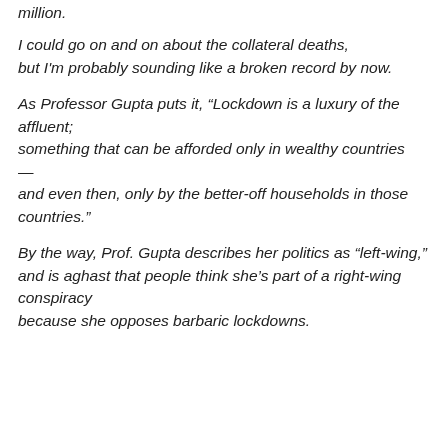million.
I could go on and on about the collateral deaths, but I'm probably sounding like a broken record by now.
As Professor Gupta puts it, “Lockdown is a luxury of the affluent; something that can be afforded only in wealthy countries — and even then, only by the better-off households in those countries.”
By the way, Prof. Gupta describes her politics as “left-wing,” and is aghast that people think she’s part of a right-wing conspiracy because she opposes barbaric lockdowns.